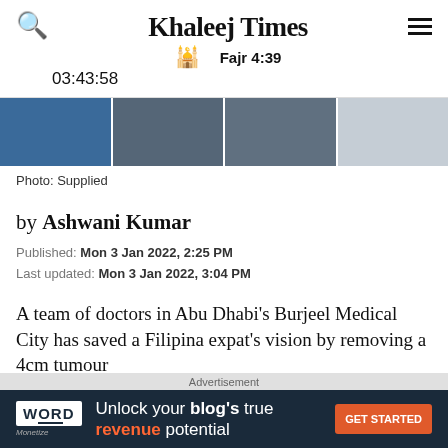Khaleej Times | Fajr 4:39 | 03:43:58
[Figure (photo): Four thumbnail photos from a medical procedure/hospital setting]
Photo: Supplied
by Ashwani Kumar
Published: Mon 3 Jan 2022, 2:25 PM
Last updated: Mon 3 Jan 2022, 3:04 PM
A team of doctors in Abu Dhabi's Burjeel Medical City has saved a Filipina expat's vision by removing a 4cm tumour
[Figure (screenshot): Advertisement banner: Word Monetize - Unlock your blog's true revenue potential - GET STARTED]